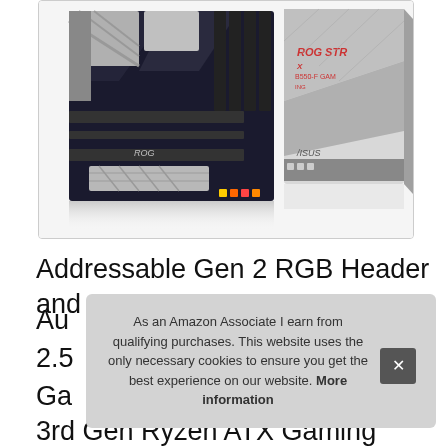[Figure (photo): Product photo of ASUS ROG STRIX B550-F Gaming motherboard alongside its retail box packaging, shown on white background inside a bordered box]
Addressable Gen 2 RGB Header and
Au
2.5
Ga
3rd Gen Ryzen ATX Gaming
As an Amazon Associate I earn from qualifying purchases. This website uses the only necessary cookies to ensure you get the best experience on our website. More information